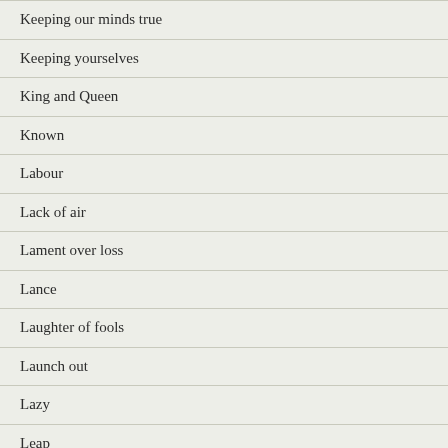Keeping our minds true
Keeping yourselves
King and Queen
Known
Labour
Lack of air
Lament over loss
Lance
Laughter of fools
Launch out
Lazy
Leap